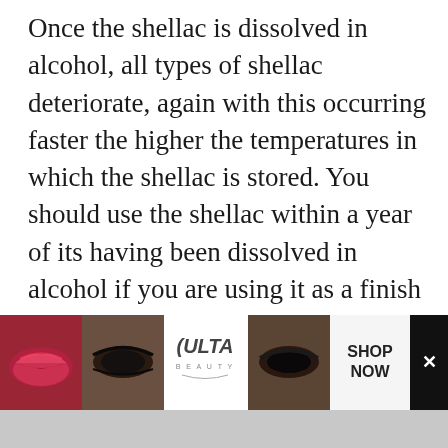Once the shellac is dissolved in alcohol, all types of shellac deteriorate, again with this occurring faster the higher the temperatures in which the shellac is stored. You should use the shellac within a year of its having been dissolved in alcohol if you are using it as a finish and not just as a sealer under another finish.
For any critical project, such as a tabletop, you should dissolve your own flakes and use the shellac as quickly as possible.
[Figure (other): Ulta Beauty advertisement banner showing makeup images (lips, brush, eye) with Ulta logo, SHOP NOW text, and close button]